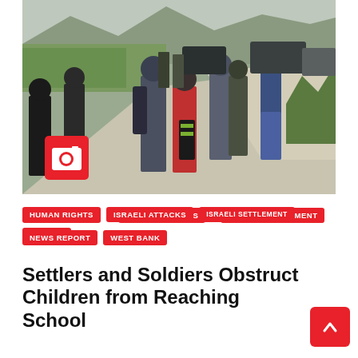[Figure (photo): Photo of children and individuals on a road, with soldiers and military vehicles visible in the background, hills and sky visible, a red camera icon box in the lower left corner of the photo.]
HUMAN RIGHTS
ISRAELI ATTACKS
ISRAELI SETTLEMENT
NABLUS
NEWS REPORT
WEST BANK
Settlers and Soldiers Obstruct Children from Reaching School